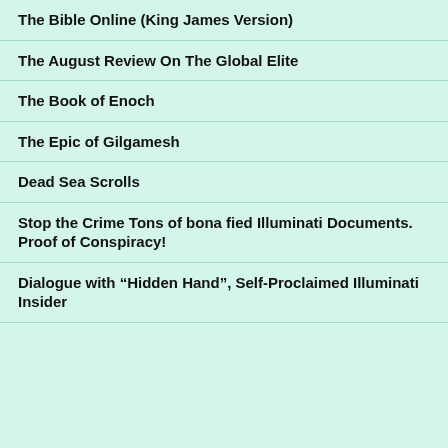The Bible Online (King James Version)
The August Review On The Global Elite
The Book of Enoch
The Epic of Gilgamesh
Dead Sea Scrolls
Stop the Crime Tons of bona fied Illuminati Documents. Proof of Conspiracy!
Dialogue with “Hidden Hand”, Self-Proclaimed Illuminati Insider